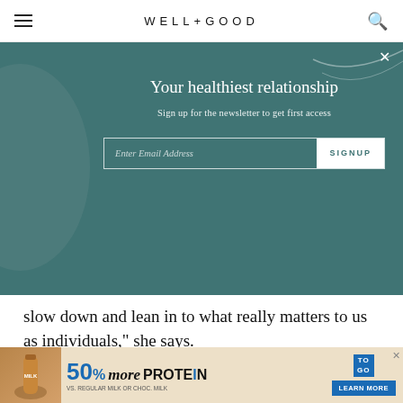WELL+GOOD
[Figure (screenshot): Newsletter signup overlay on teal/dark-teal background with decorative circle and wave. Title: 'Your healthiest relationship'. Subtitle: 'Sign up for the newsletter to get first access'. Email input field with SIGNUP button.]
slow down and lean in to what really matters to us as individuals,” she says.
“No matter where you are, no matter what
[Figure (infographic): Advertisement banner: '50% more PROTEIN TO GO' with 'LEARN MORE' button and product image. Fine print: 'VS. REGULAR MILK OR CHOC. MILK']